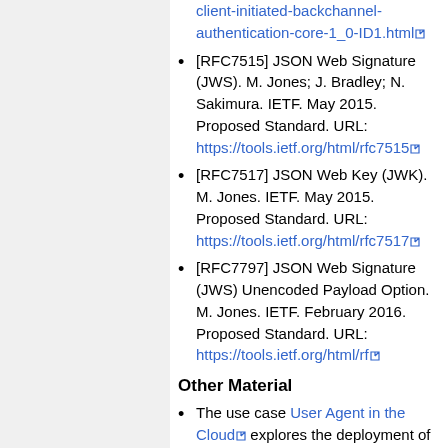client-initiated-backchannel-authentication-core-1_0-ID1.html (link)
[RFC7515] JSON Web Signature (JWS). M. Jones; J. Bradley; N. Sakimura. IETF. May 2015. Proposed Standard. URL: https://tools.ietf.org/html/rfc7515
[RFC7517] JSON Web Key (JWK). M. Jones. IETF. May 2015. Proposed Standard. URL: https://tools.ietf.org/html/rfc7517
[RFC7797] JSON Web Signature (JWS) Unencoded Payload Option. M. Jones. IETF. February 2016. Proposed Standard. URL: https://tools.ietf.org/html/rf
Other Material
The use case User Agent in the Cloud (link) explores the deployment of